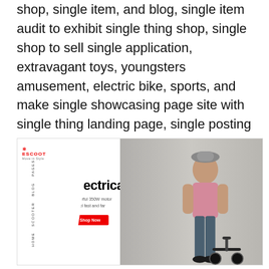shop, single item, and blog, single item audit to exhibit single thing shop, single shop to sell single application, extravagant toys, youngsters amusement, electric bike, sports, and make single showcasing page site with single thing landing page, single posting plan. At the point when you coordinate this topic, your store will be dazzled, exceptional.
[Figure (screenshot): Screenshot of the ESCOOT website showing a sidebar with navigation items (HOME, SCOOTER, BLOG, PAGES), a red vertical bar accent, bold headline 'Electrical Scooter', subtext 'Powerful 350W motor / Travel fast and far', a red 'Shop Now' button, and a background photo of a man standing with an electric scooter.]